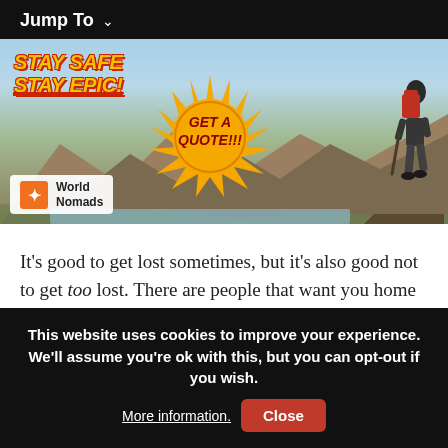Jump To
[Figure (illustration): World Nomads travel insurance advertisement banner. Mountain landscape background with a hiker carrying a red backpack. Text reads 'STAY SAFE STAY EPIC!' in bold yellow italic letters top-left. A starburst badge in the center reads 'GET A QUOTE!!!' in bold italic text. World Nomads logo with orange icon at bottom-left.]
It’s good to get lost sometimes, but it’s also good not to get too lost. There are people that want you home in one piece.
This website uses cookies to improve your experience. We’ll assume you’re ok with this, but you can opt-out if you wish. More information. Close